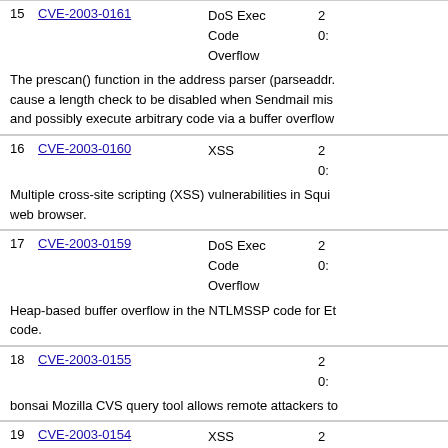| # | CVE | Type | Date |
| --- | --- | --- | --- |
| 15 | CVE-2003-0161 | DoS Exec Code Overflow | 2... |
| 16 | CVE-2003-0160 | XSS | 2... |
| 17 | CVE-2003-0159 | DoS Exec Code Overflow | 2... |
| 18 | CVE-2003-0155 |  | 2... |
| 19 | CVE-2003-0154 | XSS | 2... |
The prescan() function in the address parser (parseaddr. cause a length check to be disabled when Sendmail mis and possibly execute arbitrary code via a buffer overflow
Multiple cross-site scripting (XSS) vulnerabilities in Squi web browser.
Heap-based buffer overflow in the NTLMSSP code for Et code.
bonsai Mozilla CVS query tool allows remote attackers to
Cross-site scripting vulnerabilities (XSS) in bonsai Mozil cvslog.cgi, (2) the file or root parameters to cvsblame.cg parameter to cvsqueryform.cgi, and (6) possibly other att